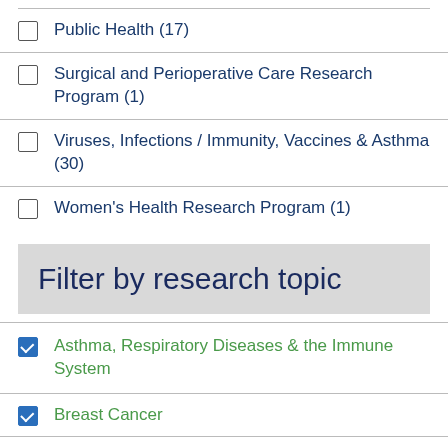Public Health (17)
Surgical and Perioperative Care Research Program (1)
Viruses, Infections / Immunity, Vaccines & Asthma (30)
Women's Health Research Program (1)
Filter by research topic
Asthma, Respiratory Diseases & the Immune System
Breast Cancer